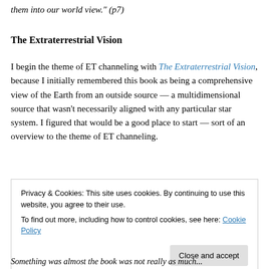them into our world view." (p7)
The Extraterrestrial Vision
I begin the theme of ET channeling with The Extraterrestrial Vision, because I initially remembered this book as being a comprehensive view of the Earth from an outside source — a multidimensional source that wasn't necessarily aligned with any particular star system. I figured that would be a good place to start — sort of an overview to the theme of ET channeling.
Privacy & Cookies: This site uses cookies. By continuing to use this website, you agree to their use.
To find out more, including how to control cookies, see here: Cookie Policy
Close and accept
Something was almost the book was not really as much...